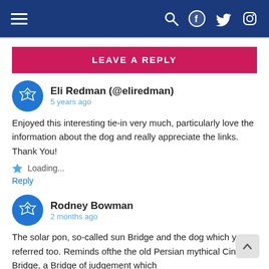Navigation bar with hamburger menu, search, Facebook, Twitter, Instagram icons
LEAVE A REPLY
Eli Redman (@eliredman)
5 years ago

Enjoyed this interesting tie-in very much, particularly love the information about the dog and really appreciate the links. Thank You!

★ Loading...
Reply
Rodney Bowman
2 months ago

The solar pon, so-called sun Bridge and the dog which you referred too. Reminds ofthe the old Persian mythical Cinvant Bridge, a Bridge of judgement which